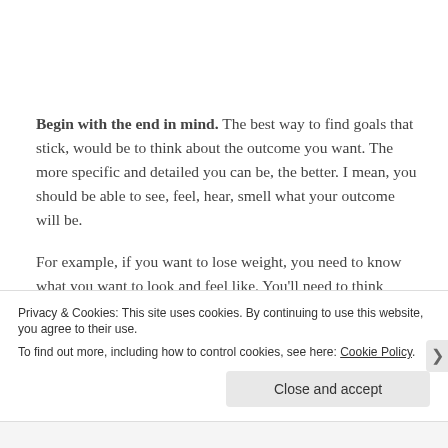Begin with the end in mind. The best way to find goals that stick, would be to think about the outcome you want. The more specific and detailed you can be, the better. I mean, you should be able to see, feel, hear, smell what your outcome will be.

For example, if you want to lose weight, you need to know what you want to look and feel like. You'll need to think about what it takes to achieve and maintain that weight.
Privacy & Cookies: This site uses cookies. By continuing to use this website, you agree to their use.
To find out more, including how to control cookies, see here: Cookie Policy